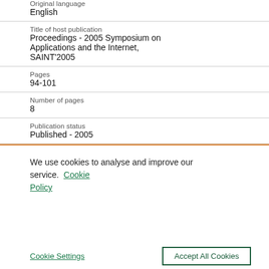Original language
English
Title of host publication
Proceedings - 2005 Symposium on Applications and the Internet, SAINT'2005
Pages
94-101
Number of pages
8
Publication status
Published - 2005
We use cookies to analyse and improve our service. Cookie Policy
Cookie Settings
Accept All Cookies